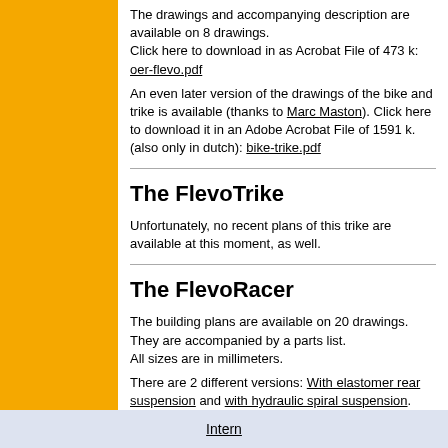The drawings and accompanying description are available on 8 drawings.
Click here to download in as Acrobat File of 473 k: oer-flevo.pdf
An even later version of the drawings of the bike and trike is available (thanks to Marc Maston). Click here to download it in an Adobe Acrobat File of 1591 k. (also only in dutch): bike-trike.pdf
The FlevoTrike
Unfortunately, no recent plans of this trike are available at this moment, as well.
The FlevoRacer
The building plans are available on 20 drawings.
They are accompanied by a parts list.
All sizes are in millimeters.
There are 2 different versions: With elastomer rear suspension and with hydraulic spiral suspension. (ZIP-files, 860 k and 773 k respectively).
Intern